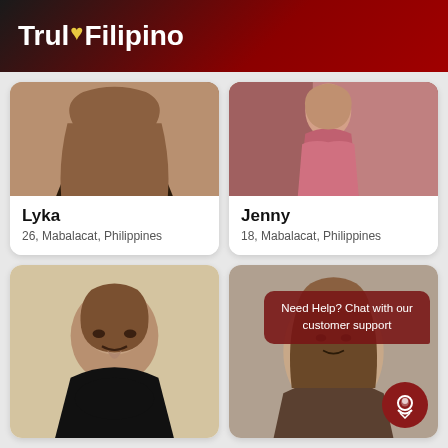TrulyFilipino
[Figure (photo): Profile photo of Lyka, woman with long hair lying down]
Lyka
26, Mabalacat, Philippines
[Figure (photo): Profile photo of Jenny, woman in pink outfit standing]
Jenny
18, Mabalacat, Philippines
[Figure (photo): Profile photo of young man in black shirt]
[Figure (photo): Profile photo of young woman with short hair, with customer support chat bubble overlay]
Need Help? Chat with our customer support